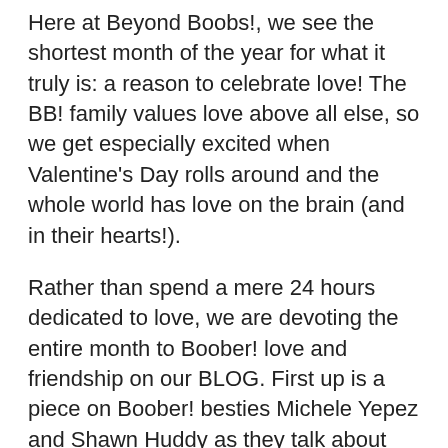Here at Beyond Boobs!, we see the shortest month of the year for what it truly is: a reason to celebrate love! The BB! family values love above all else, so we get especially excited when Valentine's Day rolls around and the whole world has love on the brain (and in their hearts!).
Rather than spend a mere 24 hours dedicated to love, we are devoting the entire month to Boober! love and friendship on our BLOG. First up is a piece on Boober! besties Michele Yepez and Shawn Huddy as they talk about their involvement with the group and how life's twists and turns led them to each other and an amazing new friendship neither one expected. Next up is a tribute to Juanita Lee from Boober! Holly Carlson. Holly shares her memories of Juanita and the impact their friendship had (and continues to have) on her life. We end the series with a shout-out to Elisha